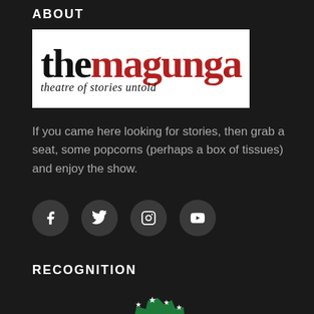ABOUT
[Figure (logo): The Magunga logo: 'the' in black bold serif and 'magunga' in red bold serif, with tagline 'theatre of stories untold' in italic below, on white background]
If you came here looking for stories, then grab a seat, some popcorns (perhaps a box of tissues) and enjoy the show.
[Figure (infographic): Four social media icon buttons (Facebook, Twitter, Instagram, YouTube) as dark circular icons]
RECOGNITION
[Figure (illustration): Green recognition badge/seal with stars, partially visible at bottom of page]